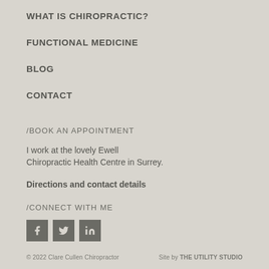WHAT IS CHIROPRACTIC?
FUNCTIONAL MEDICINE
BLOG
CONTACT
/BOOK AN APPOINTMENT
I work at the lovely Ewell Chiropractic Health Centre in Surrey.
Directions and contact details
/CONNECT WITH ME
[Figure (other): Social media icons: Facebook, Twitter, LinkedIn]
© 2022 Clare Cullen Chiropractor    Site by THE UTILITY STUDIO